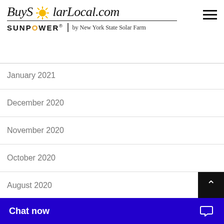BuySolarLocal.com | SUNPOWER® by New York State Solar Farm
January 2021
December 2020
November 2020
October 2020
August 2020
July 2020
June 2020